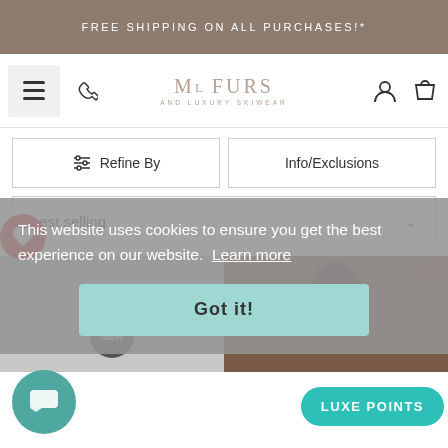FREE SHIPPING ON ALL PURCHASES!*
[Figure (logo): ML Furs and Luxury Skiwear logo with navigation icons (hamburger menu, phone, user, bag)]
Refine By
Info/Exclusions
best selling
[Figure (screenshot): Cookie consent overlay: 'This website uses cookies to ensure you get the best experience on our website. Learn more' with 'Got it!' button. Also shows discount badge -50%, chat button, Luxe Points button, and partial product image.]
This website uses cookies to ensure you get the best experience on our website.  Learn more
Got it!
LUXE POINTS
-50%